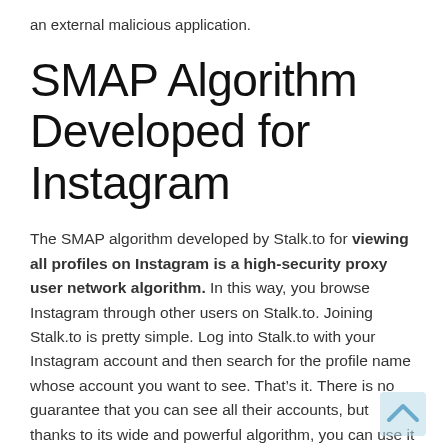an external malicious application.
SMAP Algorithm Developed for Instagram
The SMAP algorithm developed by Stalk.to for viewing all profiles on Instagram is a high-security proxy user network algorithm. In this way, you browse Instagram through other users on Stalk.to. Joining Stalk.to is pretty simple. Log into Stalk.to with your Instagram account and then search for the profile name whose account you want to see. That’s it. There is no guarantee that you can see all their accounts, but thanks to its wide and powerful algorithm, you can use it to